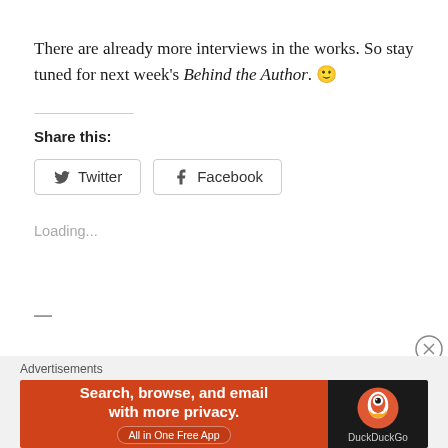There are already more interviews in the works. So stay tuned for next week's Behind the Author. 🙂
Share this:
[Figure (other): Twitter and Facebook social share buttons]
Loading...
Advertisements
[Figure (other): DuckDuckGo advertisement banner: Search, browse, and email with more privacy. All in One Free App.]